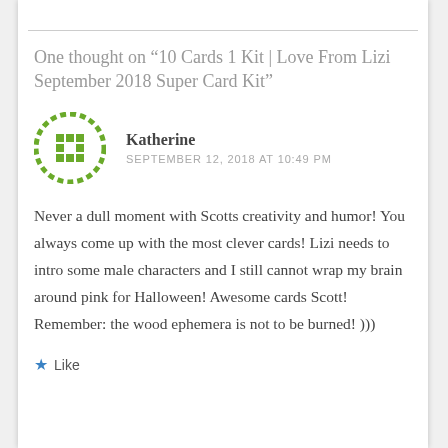One thought on “10 Cards 1 Kit | Love From Lizi September 2018 Super Card Kit”
[Figure (illustration): Green pixel-art style circular avatar icon for user Katherine]
Katherine
SEPTEMBER 12, 2018 AT 10:49 PM
Never a dull moment with Scotts creativity and humor! You always come up with the most clever cards! Lizi needs to intro some male characters and I still cannot wrap my brain around pink for Halloween! Awesome cards Scott! Remember: the wood ephemera is not to be burned! )))
★ Like